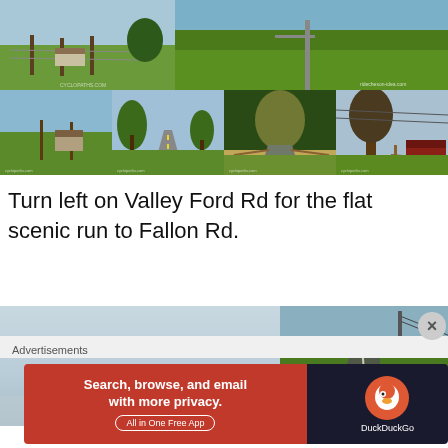[Figure (photo): Top row: two landscape/farm photos side by side showing green fields and farmland with wire fences and trees]
[Figure (photo): Second row: four smaller photos showing rural roads, trees, fences, and farm buildings along Valley Ford Rd]
Turn left on Valley Ford Rd for the flat scenic run to Fallon Rd.
[Figure (photo): Bottom left: large pale blue-grey foggy sky photo; Bottom right top: road photo with yellow center line; Bottom right bottom: partial photo with blue sky]
Advertisements
[Figure (screenshot): DuckDuckGo advertisement banner: 'Search, browse, and email with more privacy. All in One Free App' with DuckDuckGo logo on dark background]